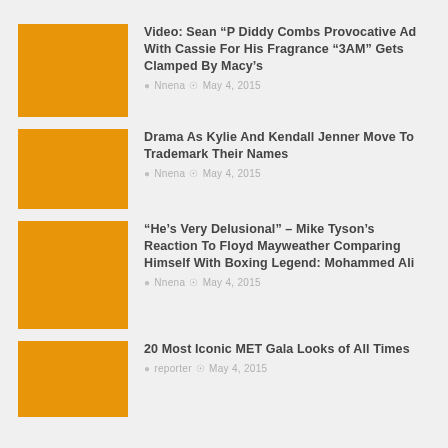Video: Sean “P Diddy Combs Provocative Ad With Cassie For His Fragrance “3AM” Gets Clamped By Macy’s
Drama As Kylie And Kendall Jenner Move To Trademark Their Names
“He’s Very Delusional” – Mike Tyson’s Reaction To Floyd Mayweather Comparing Himself With Boxing Legend: Mohammed Ali
20 Most Iconic MET Gala Looks of All Times